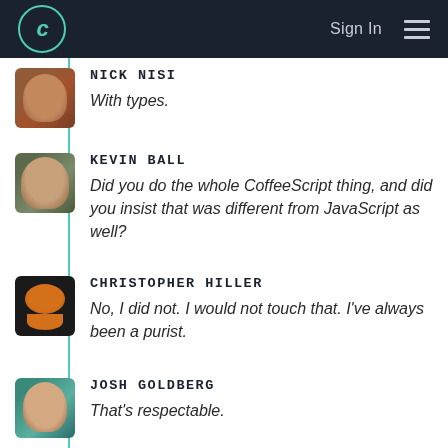C  Sign In  ≡
NICK NISI
With types.
KEVIN BALL
Did you do the whole CoffeeScript thing, and did you insist that was different from JavaScript as well?
CHRISTOPHER HILLER
No, I did not. I would not touch that. I've always been a purist.
JOSH GOLDBERG
That's respectable.